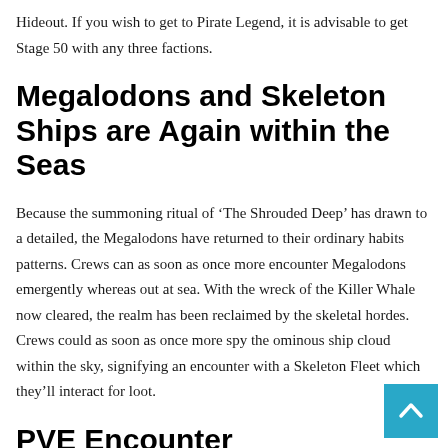Hideout. If you wish to get to Pirate Legend, it is advisable to get Stage 50 with any three factions.
Megalodons and Skeleton Ships are Again within the Seas
Because the summoning ritual of ‘The Shrouded Deep’ has drawn to a detailed, the Megalodons have returned to their ordinary habits patterns. Crews can as soon as once more encounter Megalodons emergently whereas out at sea. With the wreck of the Killer Whale now cleared, the realm has been reclaimed by the skeletal hordes. Crews could as soon as once more spy the ominous ship cloud within the sky, signifying an encounter with a Skeleton Fleet which they’ll interact for loot.
PVE Encounter Modifications in